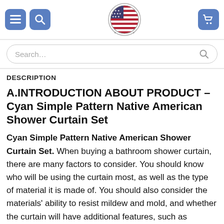Navigation header with menu, search, logo, and cart icons
DESCRIPTION
A.INTRODUCTION ABOUT PRODUCT – Cyan Simple Pattern Native American Shower Curtain Set
Cyan Simple Pattern Native American Shower Curtain Set. When buying a bathroom shower curtain, there are many factors to consider. You should know who will be using the curtain most, as well as the type of material it is made of. You should also consider the materials' ability to resist mildew and mold, and whether the curtain will have additional features, such as pockets. You should also consider the material. You can buy shower curtains that